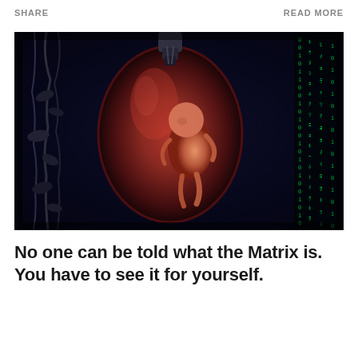SHARE    READ MORE
[Figure (photo): A dark sci-fi image from The Matrix showing a human fetus/embryo suspended in a red organic pod or sac, surrounded by dark mechanical structures and falling green digital code characters on the right side. The image has a dark, dystopian aesthetic.]
No one can be told what the Matrix is. You have to see it for yourself.